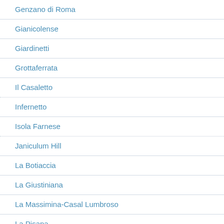Genzano di Roma
Gianicolense
Giardinetti
Grottaferrata
Il Casaletto
Infernetto
Isola Farnese
Janiculum Hill
La Botiaccia
La Giustiniana
La Massimina-Casal Lumbroso
La Pisana
La R…